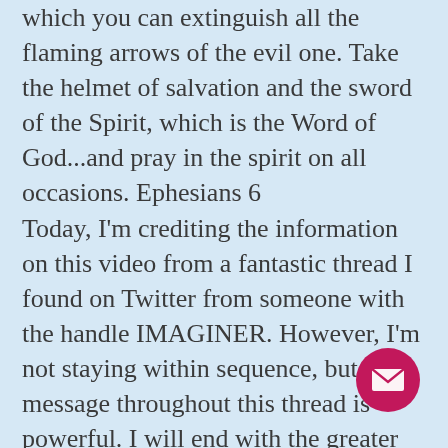which you can extinguish all the flaming arrows of the evil one. Take the helmet of salvation and the sword of the Spirit, which is the Word of God...and pray in the spirit on all occasions. Ephesians 6
Today, I'm crediting the information on this video from a fantastic thread I found on Twitter from someone with the handle IMAGINER. However, I'm not staying within sequence, but the message throughout this thread is powerful. I will end with the greater message #BendedKnee and how you too can combat these silly women with the most powerful of powers. Let's begin with a tweeted link response from PhxRising to IMAGINER. The link leads to an article
[Figure (other): Pink circular email/envelope button in bottom right corner]